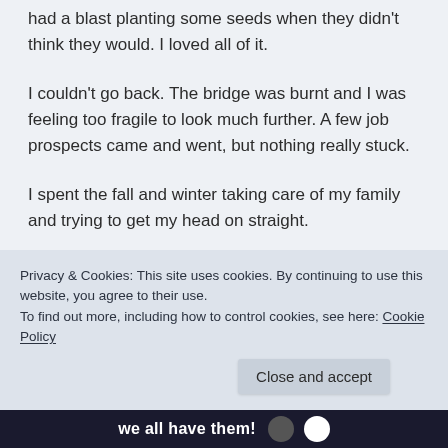had a blast planting some seeds when they didn't think they would. I loved all of it.
I couldn't go back. The bridge was burnt and I was feeling too fragile to look much further. A few job prospects came and went, but nothing really stuck.
I spent the fall and winter taking care of my family and trying to get my head on straight.
I kept folding laundry and cooking and organizing things and Komari cleaning out the closets and the kitchen. I planned this year's garden and started seeds.
Privacy & Cookies: This site uses cookies. By continuing to use this website, you agree to their use.
To find out more, including how to control cookies, see here: Cookie Policy
Close and accept
we all have them!